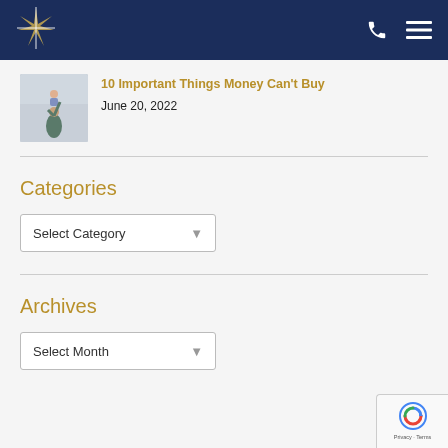[Figure (logo): Star/compass logo in white on dark navy header bar with phone and hamburger menu icons]
[Figure (photo): Thumbnail photo of a parent lifting a child in the air indoors]
10 Important Things Money Can't Buy
June 20, 2022
Categories
Select Category
Archives
Select Month